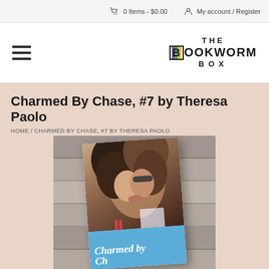0 Items - $0.00   My account / Register
[Figure (logo): The Bookworm Box logo with hamburger menu icon on left]
Charmed By Chase, #7 by Theresa Paolo
HOME / CHARMED BY CHASE, #7 BY THERESA PAOLO
[Figure (photo): Book cover of 'Charmed by Chase' by Theresa Paolo showing two people kissing, placed on a wooden surface background]